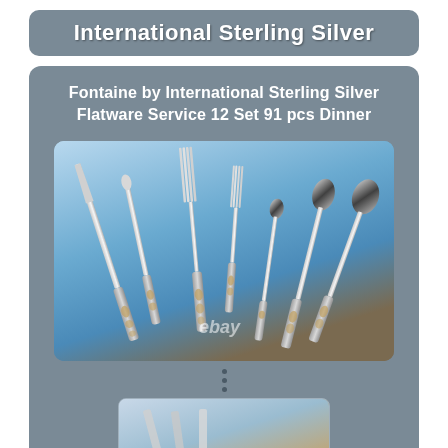International Sterling Silver
Fontaine by International Sterling Silver Flatware Service 12 Set 91 pcs Dinner
[Figure (photo): Photo of International Sterling Silver Fontaine pattern flatware set including dinner knife, butter knife, dinner fork, salad fork, teaspoon, and two larger spoons arranged on a blue gradient background with eBay watermark]
[Figure (photo): Partial thumbnail preview of a second product photo showing flatware on a surface]